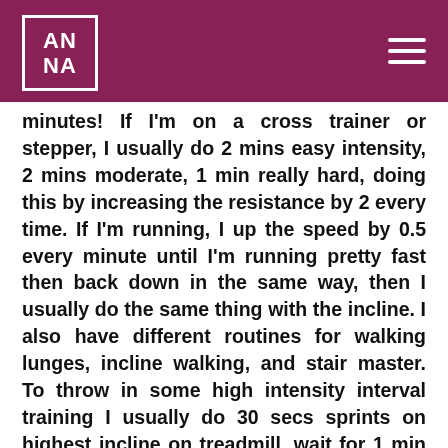ANNA
minutes! If I'm on a cross trainer or stepper, I usually do 2 mins easy intensity, 2 mins moderate, 1 min really hard, doing this by increasing the resistance by 2 every time. If I'm running, I up the speed by 0.5 every minute until I'm running pretty fast then back down in the same way, then I usually do the same thing with the incline. I also have different routines for walking lunges, incline walking, and stair master. To throw in some high intensity interval training I usually do 30 secs sprints on highest incline on treadmill, wait for 1 min and do it again until I get to 25-30 mins. On a cross trainer, rower or bike I usually sprint with higher resistance for 30-45 seconds and then drop the resistance for 30 seconds – 1 min. I've also been known to through in a couple of fasted runs and swims, although I'm not sure it makes all that much difference. HIIT and circuit classes are also great